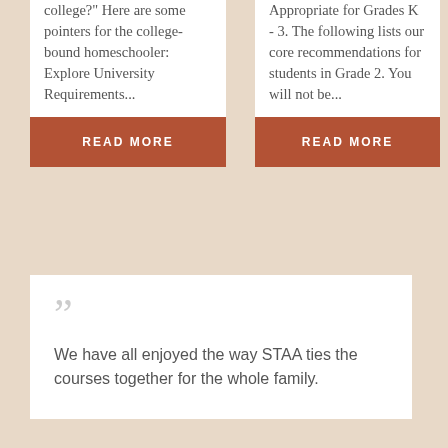college?" Here are some pointers for the college-bound homeschooler: Explore University Requirements...
READ MORE
Appropriate for Grades K - 3. The following lists our core recommendations for students in Grade 2. You will not be...
READ MORE
We have all enjoyed the way STAA ties the courses together for the whole family.